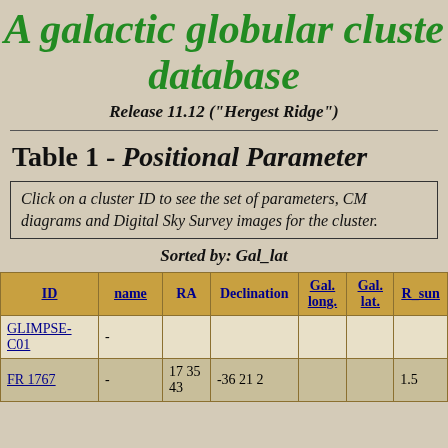A galactic globular cluster database
Release 11.12 ("Hergest Ridge")
Table 1 - Positional Parameter
Click on a cluster ID to see the set of parameters, CM diagrams and Digital Sky Survey images for the cluster.
Sorted by: Gal_lat
| ID | name | RA | Declination | Gal. long. | Gal. lat. | R_sun |
| --- | --- | --- | --- | --- | --- | --- |
| GLIMPSE-C01 | - |  |  |  |  |  |
| FR 1767 | - | 17 35 43 | -36 21 2 |  |  | 1.5 |